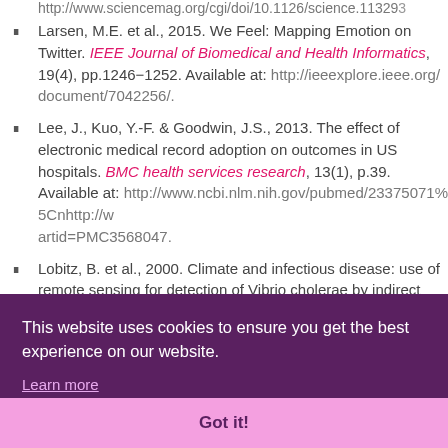http://www.sciencemag.org/cgi/doi/10.1126/science.1132934 (truncated)
Larsen, M.E. et al., 2015. We Feel: Mapping Emotion on Twitter. IEEE Journal of Biomedical and Health Informatics, 19(4), pp.1246-1252. Available at: http://ieeexplore.ieee.org/document/7042256/.
Lee, J., Kuo, Y.-F. & Goodwin, J.S., 2013. The effect of electronic medical record adoption on outcomes in US hospitals. BMC health services research, 13(1), p.39. Available at: http://www.ncbi.nlm.nih.gov/pubmed/23375071%5Cnhttp://w artid=PMC3568047.
Lobitz, B. et al., 2000. Climate and infectious disease: use of remote sensing for detection of Vibrio cholerae by indirect measurement. Proceedings of the National...
This website uses cookies to ensure you get the best experience on our website.
Learn more
Got it!
17